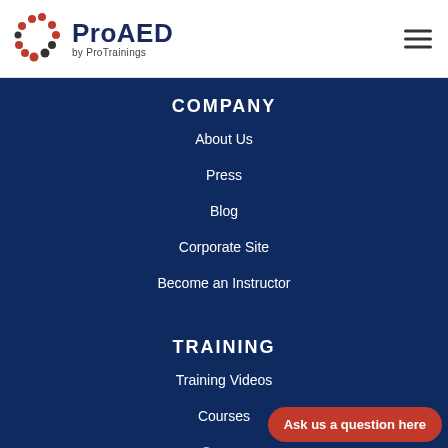[Figure (logo): ProAED by ProTrainings logo with red and black dot circular icon]
COMPANY
About Us
Press
Blog
Corporate Site
Become an Instructor
TRAINING
Training Videos
Courses
Groups
Ask us a question here